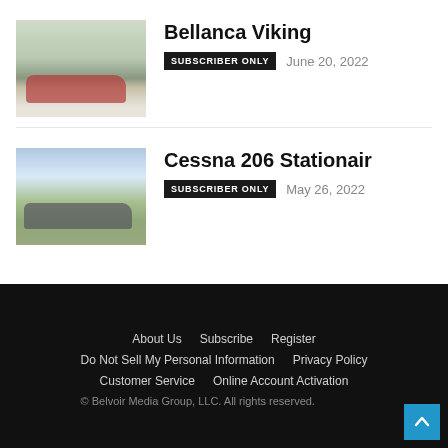[Figure (photo): Bellanca Viking aircraft on runway, red and white coloring]
Bellanca Viking
SUBSCRIBER ONLY   June 20, 2022
[Figure (photo): Cessna 206 Stationair aircraft on grass, dark colored]
Cessna 206 Stationair
SUBSCRIBER ONLY   May 26, 2022
About Us   Subscribe   Register   Do Not Sell My Personal Information   Privacy Policy   Customer Service   Online Account Activation   © Belvoir Media Group, LLC. All rights reserved.